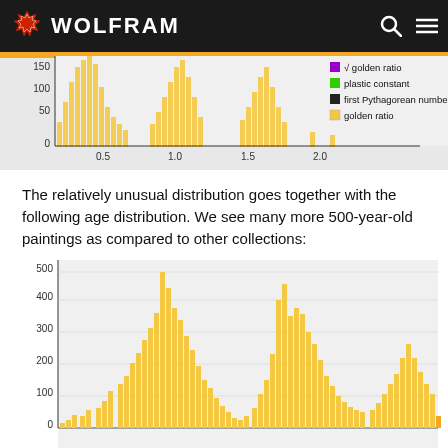WOLFRAM
[Figure (histogram): Partial histogram showing distribution with y-axis values 0-150, x-axis 0-2.0. Legend shows: sqrt golden ratio (purple), plastic constant (green), first Pythagorean number 4/3 (black), golden ratio (yellow). Orange bars dominate left side.]
The relatively unusual distribution goes together with the following age distribution. We see many more 500-year-old paintings as compared to other collections:
[Figure (histogram): Age distribution histogram with y-axis values 0-550 (showing 100, 200, 300, 400, 500) and x-axis cut off. Orange/gold bars showing bimodal-like distribution with peaks around 550 and 450, and another cluster on the right around 250.]